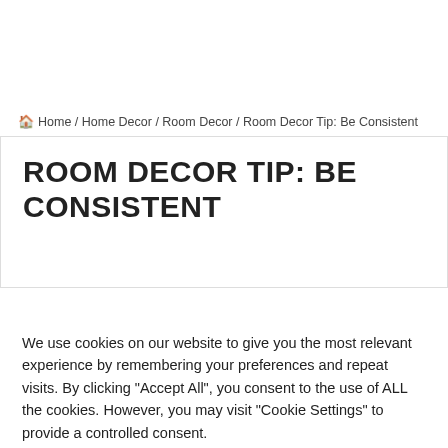🏠 Home / Home Decor / Room Decor / Room Decor Tip: Be Consistent
ROOM DECOR TIP: BE CONSISTENT
We use cookies on our website to give you the most relevant experience by remembering your preferences and repeat visits. By clicking "Accept All", you consent to the use of ALL the cookies. However, you may visit "Cookie Settings" to provide a controlled consent.